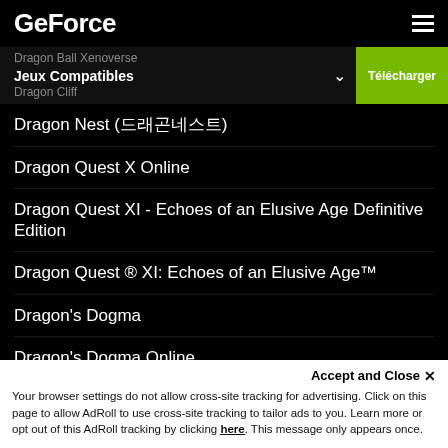GeForce
Dragon Ball Xenoverse / Jeux Compatibles / Dragon Cliff
Dragon Nest (드래곤네스트)
Dragon Quest X Online
Dragon Quest XI - Echoes of an Elusive Age Definitive Edition
Dragon Quest ® XI: Echoes of an Elusive Age™
Dragon's Dogma
Dragon's Dogma Online
Dragon's Prophet
Draw & Guess
Accept and Close ✕
Your browser settings do not allow cross-site tracking for advertising. Click on this page to allow AdRoll to use cross-site tracking to tailor ads to you. Learn more or opt out of this AdRoll tracking by clicking here. This message only appears once.